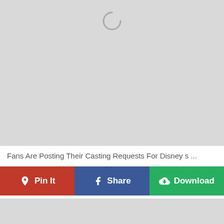[Figure (other): Large light gray placeholder image area with a loading spinner (circular arc) centered near the top]
Fans Are Posting Their Casting Requests For Disney s ...
[Figure (other): Row of three action buttons: red Pin It button with Pinterest logo, blue Share button with Facebook logo, green Download button with download cloud icon]
[Figure (other): Partial light gray placeholder image area at the bottom of the page]